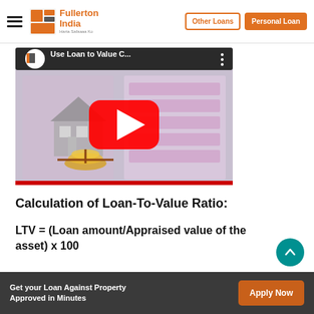Fullerton India — Other Loans | Personal Loan
[Figure (screenshot): YouTube video thumbnail showing 'Use Loan to Value C...' with Fullerton India branding, a house illustration, gold coins, and a YouTube play button overlay.]
Calculation of Loan-To-Value Ratio:
LTV = (Loan amount/Appraised value of the asset) x 100
Get your Loan Against Property Approved in Minutes  Apply Now